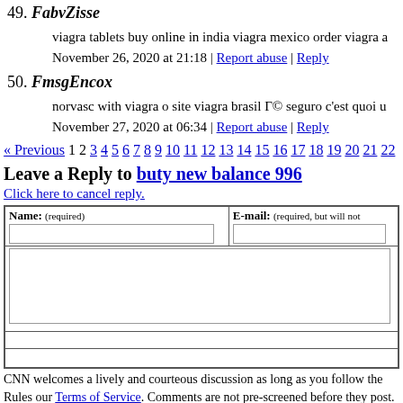49. FabvZisse

viagra tablets buy online in india viagra mexico order viagra a

November 26, 2020 at 21:18 | Report abuse | Reply
50. FmsgEncox

norvasc with viagra o site viagra brasil Γ© seguro c'est quoi u

November 27, 2020 at 06:34 | Report abuse | Reply
« Previous 1 2 3 4 5 6 7 8 9 10 11 12 13 14 15 16 17 18 19 20 21 22
Leave a Reply to buty new balance 996
Click here to cancel reply.
| Name: (required) | E-mail: (required, but will not...) |
| --- | --- |
|  |
|  |
CNN welcomes a lively and courteous discussion as long as you follow the Rules our Terms of Service. Comments are not pre-screened before they post. You agree